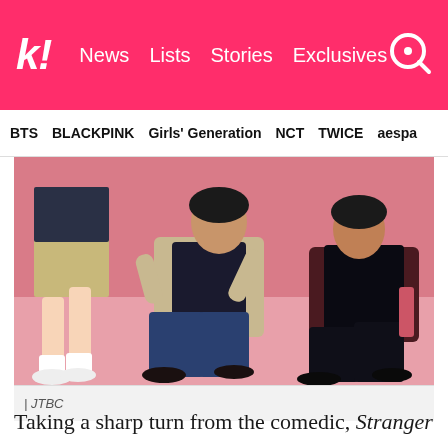k! | News  Lists  Stories  Exclusives
BTS  BLACKPINK  Girls' Generation  NCT  TWICE  aespa
[Figure (photo): Three people posed against a pink background. On the left, partial view of a person wearing a khaki skirt and white sneakers. In the center, a person in a beige jacket and dark jeans sitting on the floor. On the right, a person in a dark maroon blazer and black pants leaning back.]
| JTBC
Taking a sharp turn from the comedic, Stranger